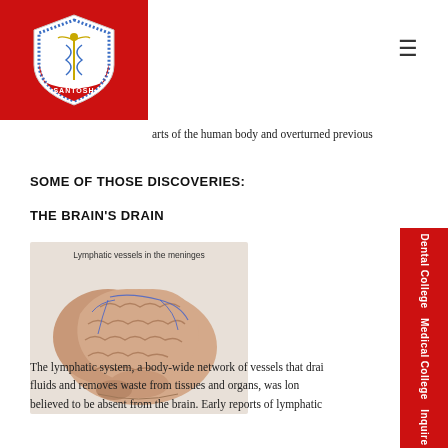[Figure (logo): Santosh Medical College shield logo on red background]
arts of the human body and overturned previous
SOME OF THOSE DISCOVERIES:
THE BRAIN'S DRAIN
[Figure (illustration): Illustration of a human brain showing lymphatic vessels in the meninges, with label 'Lymphatic vessels in the meninges']
The lymphatic system, a body-wide network of vessels that drain fluids and removes waste from tissues and organs, was long believed to be absent from the brain. Early reports of lymphatic